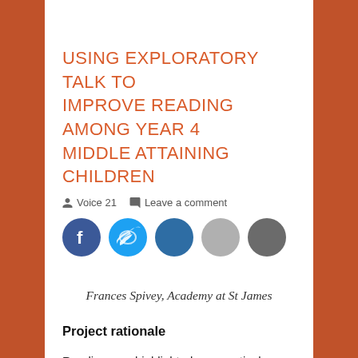USING EXPLORATORY TALK TO IMPROVE READING AMONG YEAR 4 MIDDLE ATTAINING CHILDREN
Voice 21   Leave a comment
[Figure (illustration): Five social media sharing icon circles in a row: dark blue (Facebook), cyan/light blue (Twitter), medium blue, light grey, dark grey]
Frances Spivey, Academy at St James
Project rationale
Reading was highlighted as a particular focus due to our ASP (Analyse School Performance)